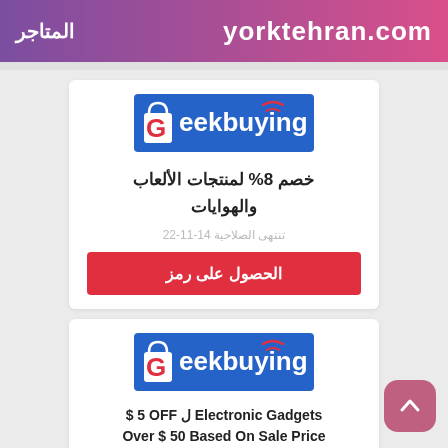المتاجر | yorktehran.com
[Figure (logo): Geekbuying logo - blue background with shopping bag icon and brand name]
خصم 8% لمنتجات الألعاب والهوايات
تنتهى الصلاحية 14-11-22
الحصول على رمز
[Figure (logo): Geekbuying logo - blue background with shopping bag icon and brand name]
$ 5 OFF ل Electronic Gadgets
Over $ 50 Based On Sale Price